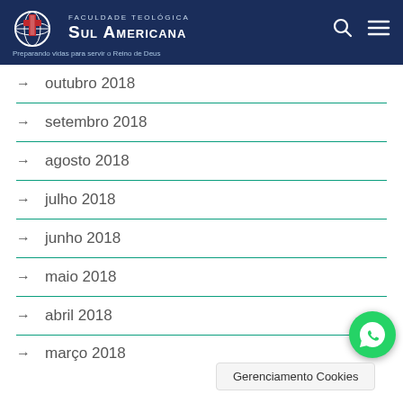Faculdade Teológica Sul Americana — Preparando vidas para servir o Reino de Deus
outubro 2018
setembro 2018
agosto 2018
julho 2018
junho 2018
maio 2018
abril 2018
março 2018
Gerenciamento Cookies